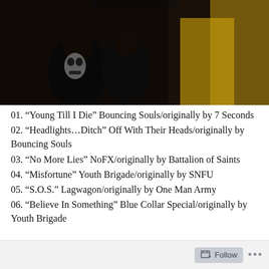[Figure (photo): A dark concert or event photo showing people in a crowded venue, partially cut off at the top. Figures visible in black and white clothing with some yellow/gold elements on the right side.]
01. “Young Till I Die” Bouncing Souls/originally by 7 Seconds
02. “Headlights…Ditch” Off With Their Heads/originally by Bouncing Souls
03. “No More Lies” NoFX/originally by Battalion of Saints
04. “Misfortune” Youth Brigade/originally by SNFU
05. “S.O.S.” Lagwagon/originally by One Man Army
06. “Believe In Something” Blue Collar Special/originally by Youth Brigade
Follow ...